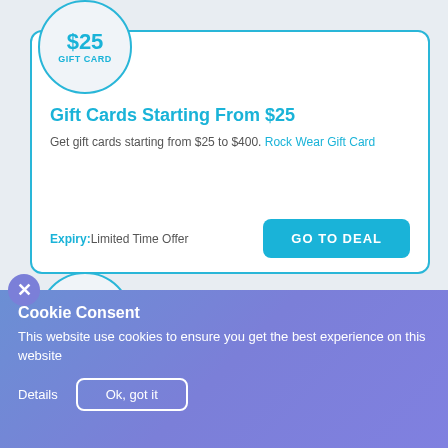[Figure (infographic): Circular badge showing $25 GIFT CARD label in teal on light gray circle with teal border]
Gift Cards Starting From $25
Get gift cards starting from $25 to $400. Rock Wear Gift Card
Expiry: Limited Time Offer
[Figure (infographic): Circular badge showing $3 PRICE label in teal on light gray circle with teal border]
Accessories Collection Starting As Low
Cookie Consent
This website use cookies to ensure you get the best experience on this website
Details  Ok, got it